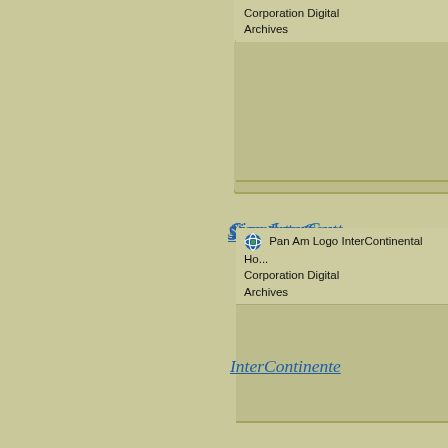Corporation Digital Archives
[Figure (photo): InterContinental Hotels Corporation Digital Archives image placeholder (top card)]
Siam InterCont...
[Figure (logo): Pan Am Logo]
InterContinental Hotels Corporation Digital Archives
[Figure (photo): InterContinental Hotels Corporation Digital Archives image placeholder (bottom card)]
InterContinente...